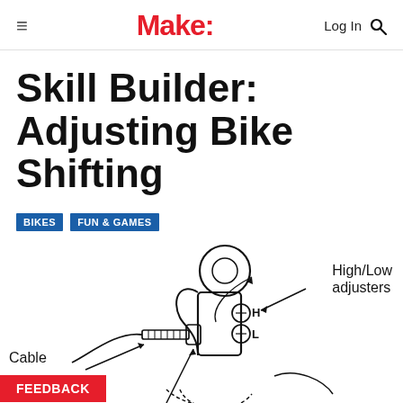≡  Make:  Log In 🔍
Skill Builder: Adjusting Bike Shifting
BIKES
FUN & GAMES
[Figure (engineering-diagram): Technical line drawing of a bicycle rear derailleur showing labeled parts: High/Low adjusters (H and L screws), Cable, Adjuster, and Cable stop. Arrows point to each part from text labels.]
Cable
High/Low adjusters
Adjuster
FEEDBACK